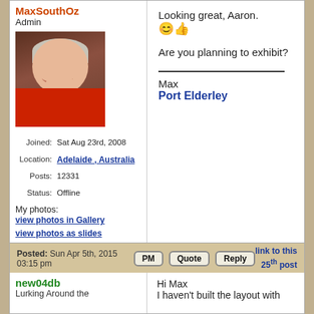MaxSouthOz
Admin
[Figure (photo): Profile photo of MaxSouthOz, an older man in a red shirt, smiling, with a brown wooden background]
Joined: Sat Aug 23rd, 2008
Location: Adelaide , Australia
Posts: 12331
Status: Offline
My photos:
view photos in Gallery
view photos as slides
Looking great, Aaron. [smiley emoji]
Are you planning to exhibit?
Max
Port Elderley
Back To Top | PM | Quote | Reply
Posted: Sun Apr 5th, 2015 03:15 pm
link to this 25th post
new04db
Lurking Around the
Hi Max
I haven't built the layout with